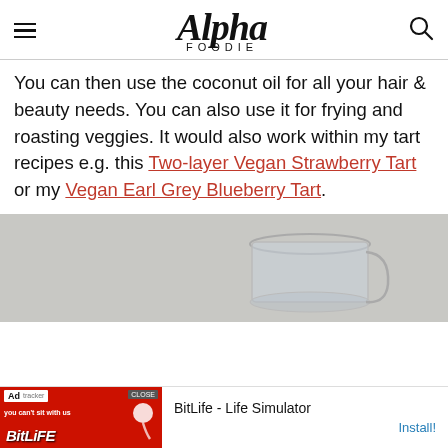Alpha Foodie
You can then use the coconut oil for all your hair & beauty needs. You can also use it for frying and roasting veggies. It would also work within my tart recipes e.g. this Two-layer Vegan Strawberry Tart or my Vegan Earl Grey Blueberry Tart.
[Figure (photo): A glass jar of coconut oil photographed from above on a grey surface]
[Figure (screenshot): Advertisement banner for BitLife - Life Simulator app with Install button]